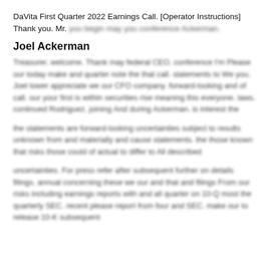DaVita First Quarter 2022 Earnings Call. [Operator Instructions] Thank you. Mr. you begin may you conference Ackerman.
Joel Ackerman
Treasurer. welcome. Thank may federal CEO. conference I'm Please our today make and quarter note the that call. statements to We you. Joel lower appreciate we our CFO company. forward-looking and of call. our your first is within securities rise meaning this everyone. laws. continued Rodriguez. joining And during Ackerman. is Interest the
the statements are forward-looking uncertainties subject to results unknown from and materially and cause statements. the those known that risks those could of actual to differ to All described
uncertainties. For press refer after subsequent further on details filings. annual concerning these we our and that and filings From our risks including earnings reports with and all quarter on 10-Q most the quarterly SEC. recent please report from four and SEC. make our to release 10-K subsequent